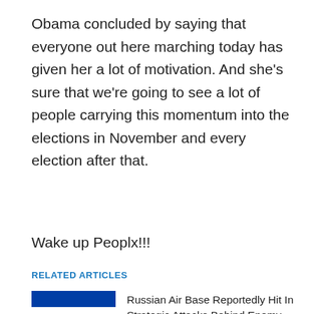Obama concluded by saying that everyone out here marching today has given her a lot of motivation. And she's sure that we're going to see a lot of people carrying this momentum into the elections in November and every election after that.
Wake up Peoplx!!!
RELATED ARTICLES
[Figure (illustration): French tricolor flag showing blue, white, and red horizontal stripes]
Russian Air Base Reportedly Hit In Strategic Attacks Behind Enemy Lines